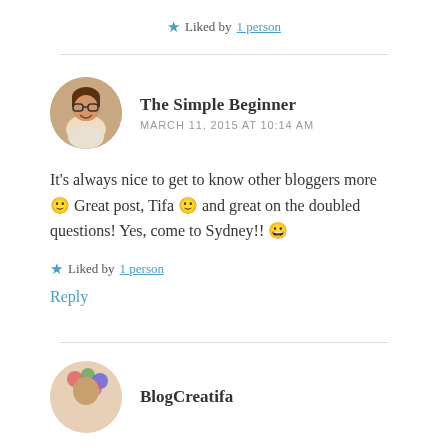Liked by 1 person
The Simple Beginner
MARCH 11, 2015 AT 10:14 AM
It's always nice to get to know other bloggers more 🙂 Great post, Tifa 🙂 and great on the doubled questions! Yes, come to Sydney!! 😀
Liked by 1 person
Reply
BlogCreatifa